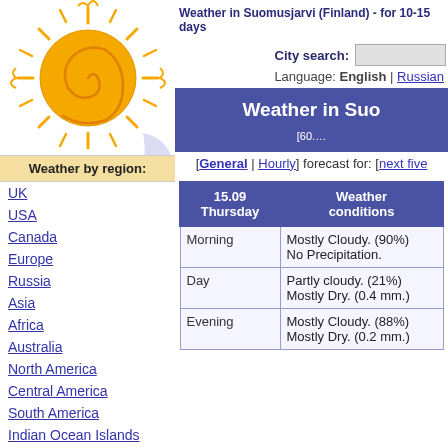[Figure (illustration): Sun cartoon illustration with spiral center and rays, partially overlapping moon/cloud symbol]
Weather in Suomusjarvi (Finland) - for 10-15 days
City search:
Language: English | Russian
Weather by region:
UK
USA
Canada
Europe
Russia
Asia
Africa
Australia
North America
Central America
South America
Indian Ocean Islands
Atlantic Ocean Islands
Pacific Ocean Islands
Weather in Suo [60.…
[General | Hourly] forecast for: [next five
| 15.09 Thursday | Weather conditions |
| --- | --- |
| Morning | Mostly Cloudy. (90%)
No Precipitation. |
| Day | Partly cloudy. (21%)
Mostly Dry. (0.4 mm.) |
| Evening | Mostly Cloudy. (88%)
Mostly Dry. (0.2 mm.) |